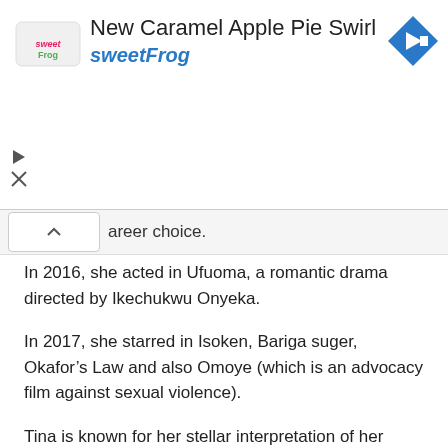[Figure (screenshot): SweetFrog advertisement banner with logo, title 'New Caramel Apple Pie Swirl', subtitle 'sweetFrog', and a blue diamond navigation arrow icon on the right. Play and close controls on the left.]
career choice.
In 2016, she acted in Ufuoma, a romantic drama directed by Ikechukwu Onyeka.
In 2017, she starred in Isoken, Bariga suger, Okafor’s Law and also Omoye (which is an advocacy film against sexual violence).
Tina is known for her stellar interpretation of her roles, she always adapts to different roles given to her by different movie producers/directors.
According to her, the secret for her stellar